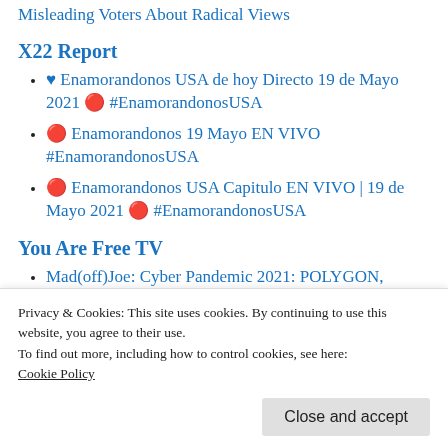Misleading Voters About Radical Views
X22 Report
🤍 Enamorandonos USA de hoy Directo 19 de Mayo 2021 🔴 #EnamorandonosUSA
🔴 Enamorandonos 19 Mayo EN VIVO #EnamorandonosUSA
🔴 Enamorandonos USA Capitulo EN VIVO | 19 de Mayo 2021 🔴 #EnamorandonosUSA
You Are Free TV
Mad(off)Joe: Cyber Pandemic 2021: POLYGON,
Privacy & Cookies: This site uses cookies. By continuing to use this website, you agree to their use.
To find out more, including how to control cookies, see here:
Cookie Policy
Close and accept
Wish to kill Humanity